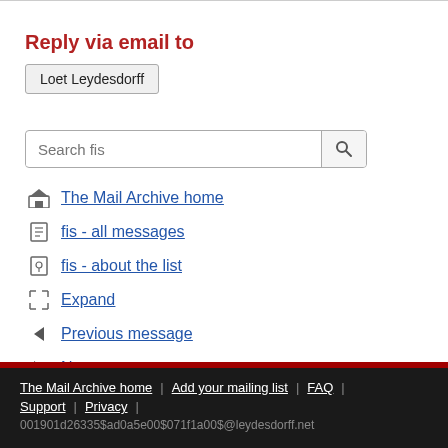Reply via email to
Loet Leydesdorff
Search fis
The Mail Archive home
fis - all messages
fis - about the list
Expand
Previous message
Next message
The Mail Archive home | Add your mailing list | FAQ | Support | Privacy | 001901d26335$ad0a5e00$071f1a00$@leydesdorff.net